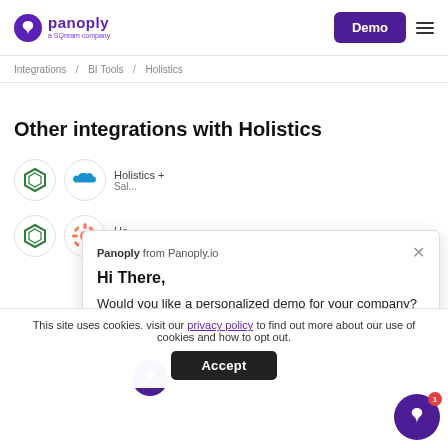panoply a SQream company | Demo
Integrations / BI Tools / Holistics
Other integrations with Holistics
Holistics + Sal...
Ho... Hu...
[Figure (screenshot): Chat popup from Panoply.io: 'Hi There, Would you like a personalized demo for your company?']
This site uses cookies. visit our privacy policy to find out more about our use of cookies and how to opt out.
Accept